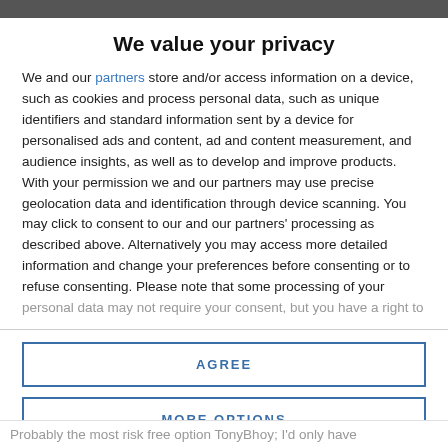We value your privacy
We and our partners store and/or access information on a device, such as cookies and process personal data, such as unique identifiers and standard information sent by a device for personalised ads and content, ad and content measurement, and audience insights, as well as to develop and improve products. With your permission we and our partners may use precise geolocation data and identification through device scanning. You may click to consent to our and our partners' processing as described above. Alternatively you may access more detailed information and change your preferences before consenting or to refuse consenting. Please note that some processing of your personal data may not require your consent, but you have a right to
AGREE
MORE OPTIONS
Probably the most risk free option TonyBhoy; I'd only have